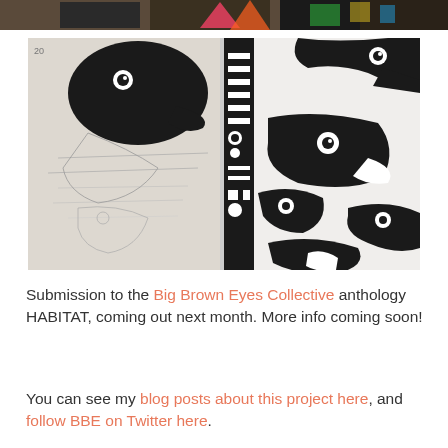[Figure (photo): Top cropped photo strip showing colorful artwork with neon/fluorescent designs on dark background]
[Figure (photo): Two side-by-side photos: left shows pencil sketch of bird-like creature on white paper, right shows finished black and white illustration with multiple animal figures in bold graphic style]
Submission to the Big Brown Eyes Collective anthology HABITAT, coming out next month. More info coming soon!
You can see my blog posts about this project here, and follow BBE on Twitter here.